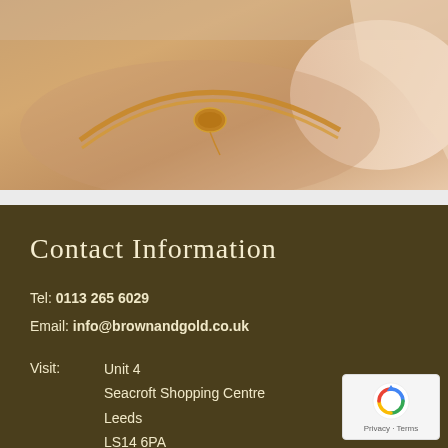[Figure (photo): Close-up photo of a person's wrist wearing a gold bangle bracelet with a small oval charm, being held or clasped. The skin tones are warm and the bracelet is rose gold colored.]
Contact Information
Tel: 0113 265 6029
Email: info@brownandgold.co.uk
Visit:  Unit 4
Seacroft Shopping Centre
Leeds
LS14 6PA